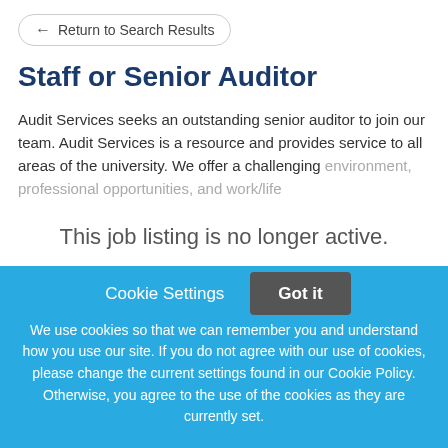Return to Search Results
Staff or Senior Auditor
Audit Services seeks an outstanding senior auditor to join our team. Audit Services is a resource and provides service to all areas of the university. We offer a challenging environment, professional opportunities, and work/life
This job listing is no longer active.
Cookie Settings   Got it
We use cookies so that we can remember you and understand how you use our site. If you do not agree with our use of cookies, please change the current settings found in our Cookie Policy. Otherwise, you agree to the use of the cookies as they are currently set.